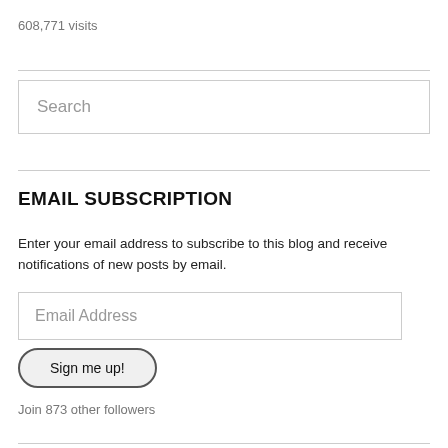608,771 visits
Search
EMAIL SUBSCRIPTION
Enter your email address to subscribe to this blog and receive notifications of new posts by email.
Email Address
Sign me up!
Join 873 other followers